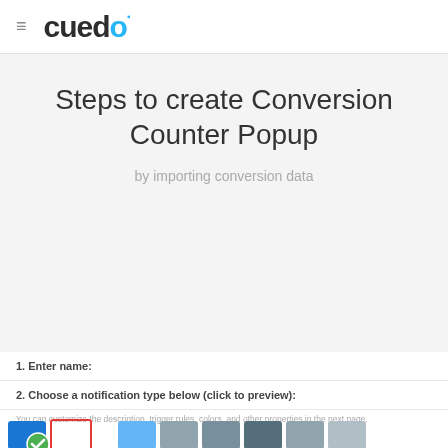≡  cuedo
Steps to create Conversion Counter Popup
by importing conversion data
1. Enter name:
2. Choose a notification type below (click to preview):
You can customize the description, trigger rules, colors, and other properties in the next page.